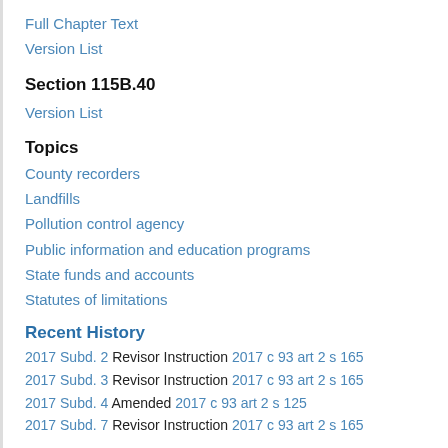Full Chapter Text
Version List
Section 115B.40
Version List
Topics
County recorders
Landfills
Pollution control agency
Public information and education programs
State funds and accounts
Statutes of limitations
Recent History
2017 Subd. 2 Revisor Instruction 2017 c 93 art 2 s 165
2017 Subd. 3 Revisor Instruction 2017 c 93 art 2 s 165
2017 Subd. 4 Amended 2017 c 93 art 2 s 125
2017 Subd. 7 Revisor Instruction 2017 c 93 art 2 s 165